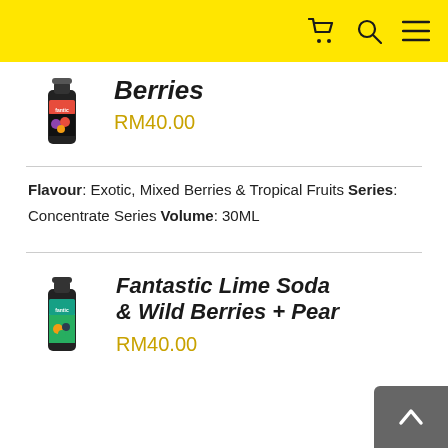Navigation bar with cart, search, and menu icons
[Figure (photo): Product bottle with red/berry label (Fantastic brand)]
Berries
RM40.00
Flavour: Exotic, Mixed Berries & Tropical Fruits Series: Concentrate Series Volume: 30ML
[Figure (photo): Product bottle with teal/green label (Fantastic brand)]
Fantastic Lime Soda & Wild Berries + Pear
RM40.00